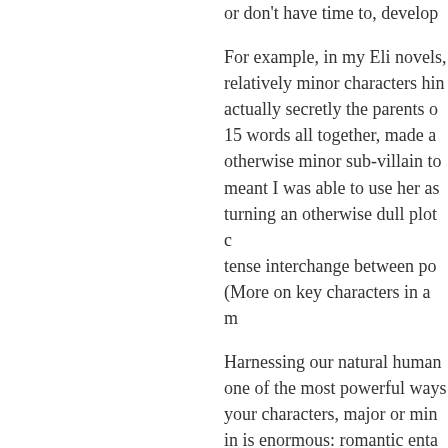or don't have time to, develop
For example, in my Eli novels, relatively minor characters hin actually secretly the parents o 15 words all together, made a otherwise minor sub-villain to meant I was able to use her as turning an otherwise dull plot c tense interchange between po (More on key characters in a m
Harnessing our natural human one of the most powerful ways your characters, major or min in is enormous: romantic enta scandals, secrets, feuds, all th those shows religiously, it's be authors can use that same ade instantly rank as important in a killing tension with explanation
J. K. Rowling did an amazing j many HP characters you can